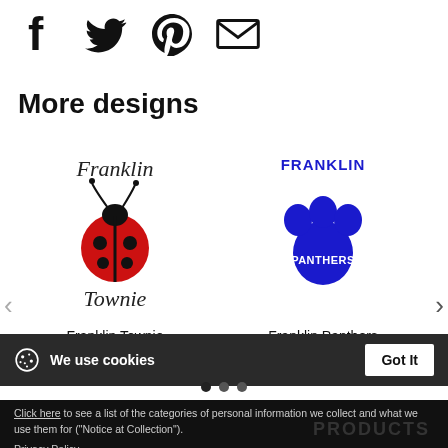[Figure (illustration): Social sharing icons: Facebook, Twitter, Pinterest, Email]
More designs
[Figure (illustration): Franklin Townie Ladybug product logo - red ladybug with Franklin text above and Townie below]
Franklin Townie Ladybug
[Figure (illustration): Franklin Panthers product logo - blue paw print with FRANKLIN above and PANTHERS inside]
Franklin Panthers
We use cookies
Click here to see a list of the categories of personal information we collect and what we use them for ("Notice at Collection").
Privacy Policy
Do Not Sell My Personal Information
By using this website, I agree to the Terms and Conditions